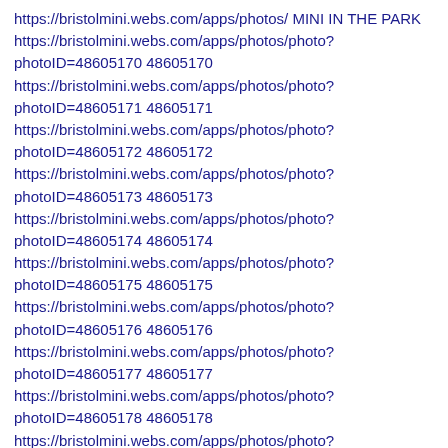https://bristolmini.webs.com/apps/photos/ MINI IN THE PARK
https://bristolmini.webs.com/apps/photos/photo?photoID=48605170 48605170
https://bristolmini.webs.com/apps/photos/photo?photoID=48605171 48605171
https://bristolmini.webs.com/apps/photos/photo?photoID=48605172 48605172
https://bristolmini.webs.com/apps/photos/photo?photoID=48605173 48605173
https://bristolmini.webs.com/apps/photos/photo?photoID=48605174 48605174
https://bristolmini.webs.com/apps/photos/photo?photoID=48605175 48605175
https://bristolmini.webs.com/apps/photos/photo?photoID=48605176 48605176
https://bristolmini.webs.com/apps/photos/photo?photoID=48605177 48605177
https://bristolmini.webs.com/apps/photos/photo?photoID=48605178 48605178
https://bristolmini.webs.com/apps/photos/photo?photoID=48605179 48605179
https://bristolmini.webs.com/apps/photos/photo?photoID=48605280 48605280
https://bristolmini.webs.com/apps/photos/photo?photoID=48605281 48605281